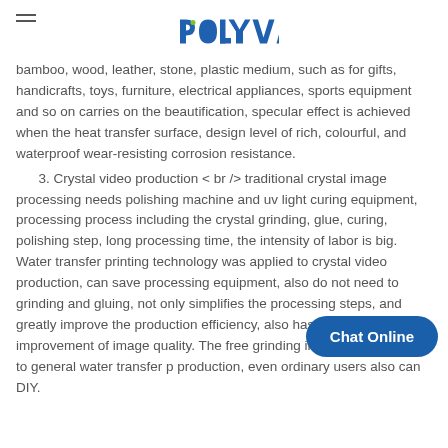POLYVA
bamboo, wood, leather, stone, plastic medium, such as for gifts, handicrafts, toys, furniture, electrical appliances, sports equipment and so on carries on the beautification, specular effect is achieved when the heat transfer surface, design level of rich, colourful, and waterproof wear-resisting corrosion resistance.
3. Crystal video production < br /> traditional crystal image processing needs polishing machine and uv light curing equipment, processing process including the crystal grinding, glue, curing, polishing step, long processing time, the intensity of labor is big. Water transfer printing technology was applied to crystal video production, can save processing equipment, also do not need to grinding and gluing, not only simplifies the processing steps, and greatly improve the production efficiency, also has a lot of improvement of image quality. The free grinding image you just need to general water transfer p production, even ordinary users also can DIY.